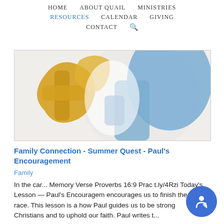HOME  ABOUT QUAIL  MINISTRIES  RESOURCES  CALENDAR  GIVING  CONTACT
[Figure (illustration): Colorful art illustration with blue and gold/yellow puzzle-piece or cross-like shapes on a light background]
Family Connection - Summer Quest - Paul's Encouragement
Family
In the car... Memory Verse Proverbs 16:9 Prac t.ly/4Rzi Today's Lesson — Paul's Encouragement encourages us to finish the race. This lesson is about how Paul guides us to be strong Christians and to uphold our faith. Paul writes t...